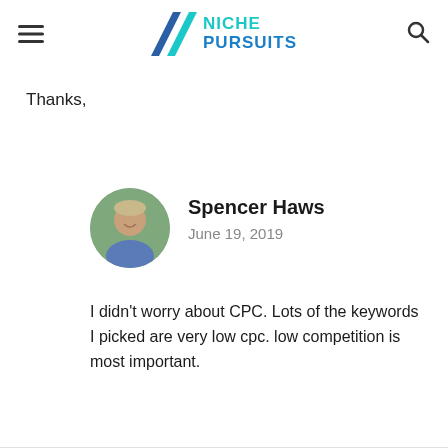Niche Pursuits
Thanks,
Spencer Haws
June 19, 2019
I didn't worry about CPC. Lots of the keywords I picked are very low cpc. low competition is most important.